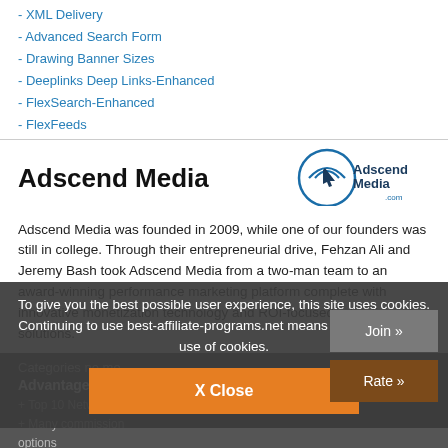- XML Delivery
- Advanced Search Form
- Drawing Banner Sizes
- Deeplinks Deep Links-Enhanced
- FlexSearch-Enhanced
- FlexFeeds
Adscend Media
[Figure (logo): AdscendMedia.com logo with cursor/hand icon in blue]
Adscend Media was founded in 2009, while one of our founders was still in college. Through their entrepreneurial drive, Fehzan Ali and Jeremy Bash took Adscend Media from a two-man team to an award-winning performance marketing platform complete with innovative monetization technology and ROI-focused advertising solutions.
Categories No me
Advantages
+ Top 10 Network (mThink 2012, 2013, 2... 2015)
+ Many commission options
To give you the best possible user experience, this site uses cookies. Continuing to use best-affiliate-programs.net means you agree to our use of cookies.
X Close
Join »
Rate »